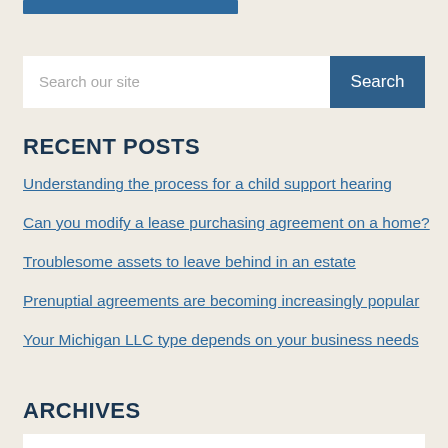[Figure (other): Blue button/bar at top of sidebar]
Search our site
RECENT POSTS
Understanding the process for a child support hearing
Can you modify a lease purchasing agreement on a home?
Troublesome assets to leave behind in an estate
Prenuptial agreements are becoming increasingly popular
Your Michigan LLC type depends on your business needs
ARCHIVES